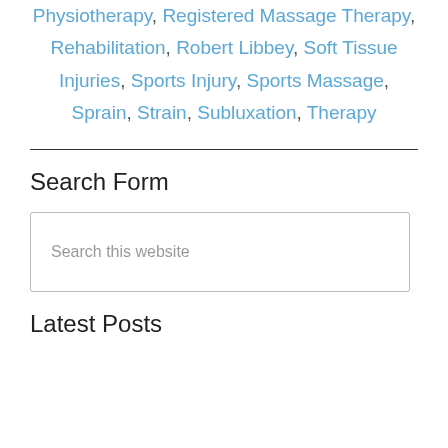Physiotherapy, Registered Massage Therapy, Rehabilitation, Robert Libbey, Soft Tissue Injuries, Sports Injury, Sports Massage, Sprain, Strain, Subluxation, Therapy
Search Form
Search this website
Latest Posts